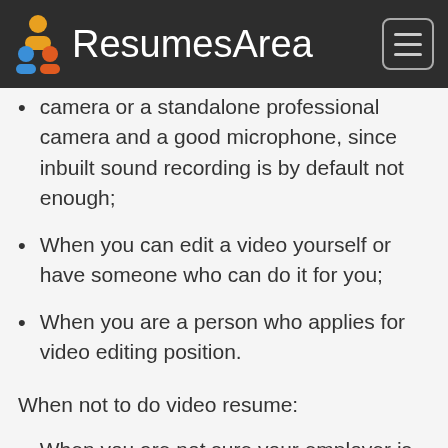ResumesArea
When you have a smartphone with good camera or a standalone professional camera and a good microphone, since inbuilt sound recording is by default not enough;
When you can edit a video yourself or have someone who can do it for you;
When you are a person who applies for video editing position.
When not to do video resume:
When you are not sure your employer is open-minded enough to embrace it;